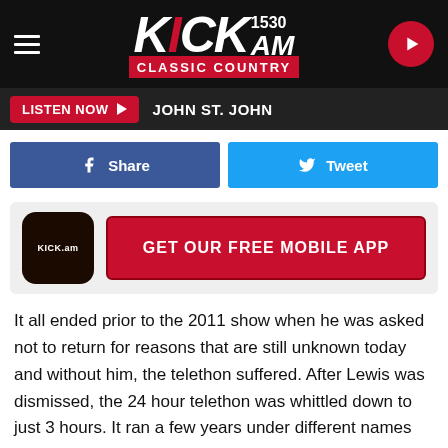KICK 1530 AM - CLASSIC COUNTRY
LISTEN NOW  JOHN ST. JOHN
[Figure (screenshot): Facebook Share button and Twitter Tweet button side by side]
[Figure (infographic): GET OUR FREE MOBILE APP - KICK.am app icon with red download button]
It all ended prior to the 2011 show when he was asked not to return for reasons that are still unknown today and without him, the telethon suffered. After Lewis was dismissed, the 24 hour telethon was whittled down to just 3 hours. It ran a few years under different names and eventually discontinued in 2015